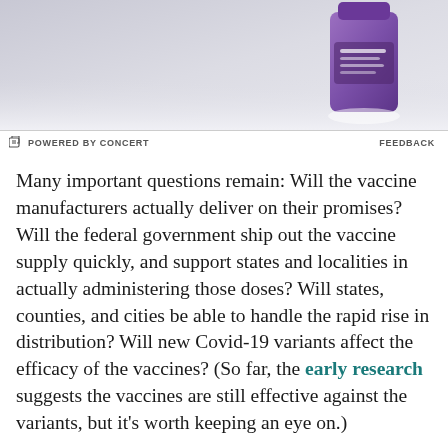[Figure (photo): Advertisement banner showing a purple cosmetic product bottle against a light grey/white background]
POWERED BY CONCERT    FEEDBACK
Many important questions remain: Will the vaccine manufacturers actually deliver on their promises? Will the federal government ship out the vaccine supply quickly, and support states and localities in actually administering those doses? Will states, counties, and cities be able to handle the rapid rise in distribution? Will new Covid-19 variants affect the efficacy of the vaccines? (So far, the early research suggests the vaccines are still effective against the variants, but it's worth keeping an eye on.)
And, perhaps most importantly, will enough Americans want to get vaccinated? Surveys show